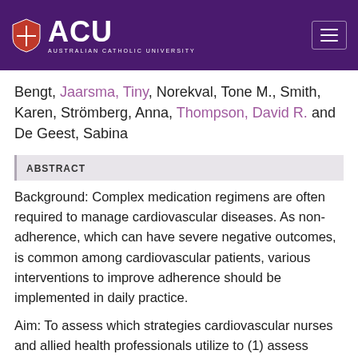ACU Australian Catholic University
Bengt, Jaarsma, Tiny, Norekval, Tone M., Smith, Karen, Strömberg, Anna, Thompson, David R. and De Geest, Sabina
ABSTRACT
Background: Complex medication regimens are often required to manage cardiovascular diseases. As non-adherence, which can have severe negative outcomes, is common among cardiovascular patients, various interventions to improve adherence should be implemented in daily practice.
Aim: To assess which strategies cardiovascular nurses and allied health professionals utilize to (1) assess patients' adherence to medication regimen, and (2) enhance medication adherence via educational/cognitive